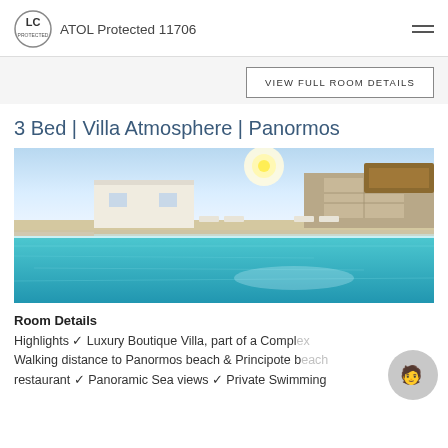ATOL Protected 11706
VIEW FULL ROOM DETAILS
3 Bed | Villa Atmosphere | Panormos
[Figure (photo): Outdoor swimming pool with white-washed villa buildings and stone walls in background, clear blue sky, lounge chairs visible]
Room Details
Highlights ✓ Luxury Boutique Villa, part of a Compl... Walking distance to Panormos beach & Principote b... restaurant ✓ Panoramic Sea views ✓ Private Swimming